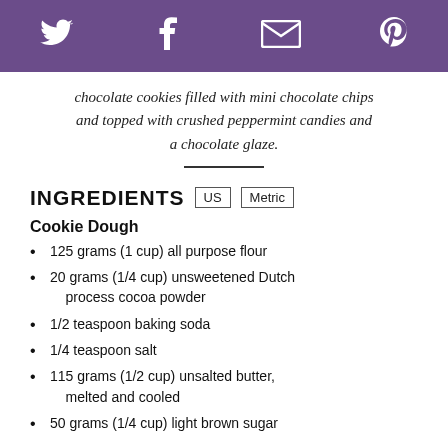Social share icons: Twitter, Facebook, Email, Pinterest
chocolate cookies filled with mini chocolate chips and topped with crushed peppermint candies and a chocolate glaze.
INGREDIENTS  US  Metric
Cookie Dough
125 grams (1 cup) all purpose flour
20 grams (1/4 cup) unsweetened Dutch process cocoa powder
1/2 teaspoon baking soda
1/4 teaspoon salt
115 grams (1/2 cup) unsalted butter, melted and cooled
50 grams (1/4 cup) light brown sugar